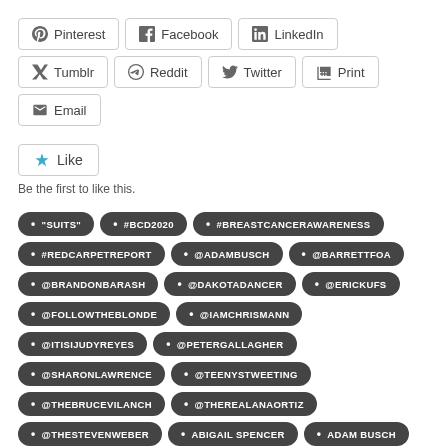Pinterest
Facebook
LinkedIn
Tumblr
Reddit
Twitter
Print
Email
Be the first to like this.
"SUITS"
#BCD2020
#BREASTCANCERAWARENESS
#REDCARPETREPORT
@ADAMBUSCH
@BARRETTFOA
@BRANDONBARASH
@DAKOTADANCER
@ERICKUFS
@FOLLOWTHEBLONDE
@IAMCHRISMANN
@ITISIJUDYREYES
@PETERGALLAGHER
@SHARONLAWRENCE
@TEENYSTWEETING
@THEBRUCEVILANCH
@THEREALANAORTIZ
@THESTEVENWEBER
ABIGAIL SPENCER
ADAM BUSCH
ANA ORTIZ